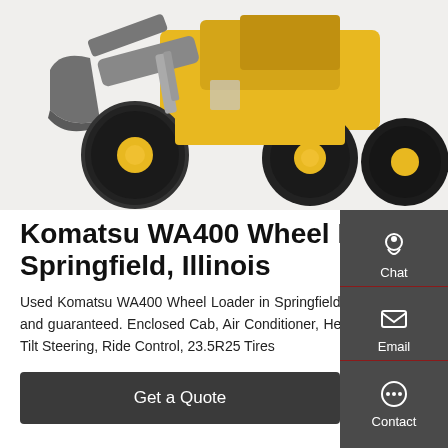[Figure (photo): Komatsu WA400 Wheel Loader photograph showing front bucket and wheels against white background]
Komatsu WA400 Wheel Loader In Springfield, Illinois
Used Komatsu WA400 Wheel Loader in Springfield, Illinois, United States for sale, inspected and guaranteed. Enclosed Cab, Air Conditioner, Heater, 114" Wide General Purpose Bucket, Tilt Steering, Ride Control, 23.5R25 Tires
Get a Quote